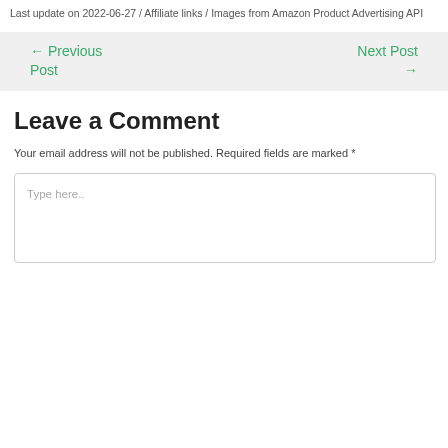Last update on 2022-06-27 / Affiliate links / Images from Amazon Product Advertising API
← Previous Post
Next Post →
Leave a Comment
Your email address will not be published. Required fields are marked *
Type here..